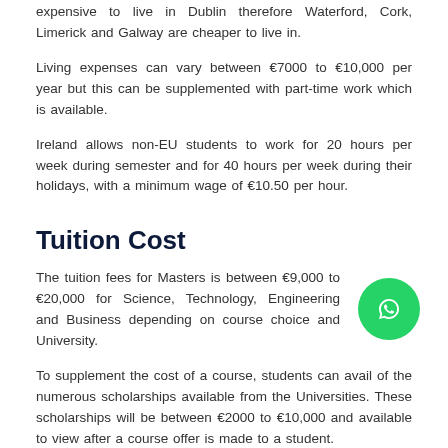expensive to live in Dublin therefore Waterford, Cork, Limerick and Galway are cheaper to live in.
Living expenses can vary between €7000 to €10,000 per year but this can be supplemented with part-time work which is available.
Ireland allows non-EU students to work for 20 hours per week during semester and for 40 hours per week during their holidays, with a minimum wage of €10.50 per hour.
Tuition Cost
The tuition fees for Masters is between €9,000 to €20,000 for Science, Technology, Engineering and Business depending on course choice and University.
To supplement the cost of a course, students can avail of the numerous scholarships available from the Universities. These scholarships will be between €2000 to €10,000 and available to view after a course offer is made to a student.
Master's Degree courses are Level 9 which is a post-